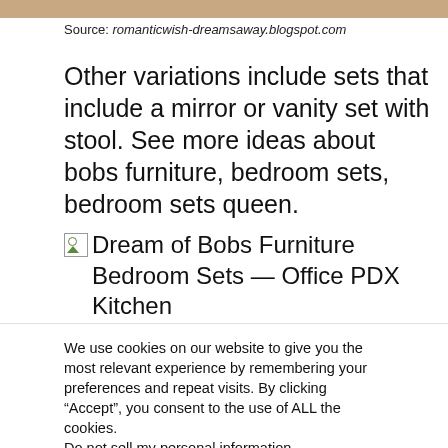[Figure (photo): Top strip of a bedroom furniture photo, showing warm wood tones]
Source: romanticwish-dreamsaway.blogspot.com
Other variations include sets that include a mirror or vanity set with stool. See more ideas about bobs furniture, bedroom sets, bedroom sets queen.
[Figure (photo): Broken image placeholder labeled: Dream of Bobs Furniture Bedroom Sets — Office PDX Kitchen]
We use cookies on our website to give you the most relevant experience by remembering your preferences and repeat visits. By clicking “Accept”, you consent to the use of ALL the cookies. Do not sell my personal information.